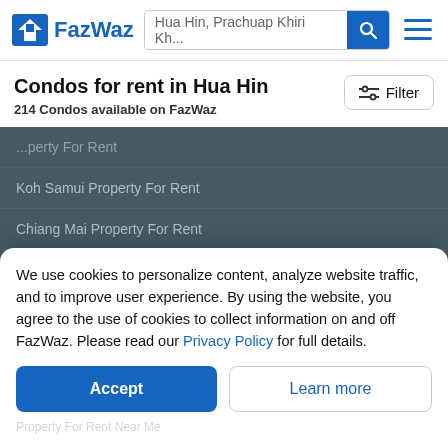FazWaz — Hua Hin, Prachuap Khiri Kh...
Condos for rent in Hua Hin
214 Condos available on FazWaz
Koh Samui Property For Rent
Chiang Mai Property For Rent
Nearby Real Estate
Condos For Rent Near Me
We use cookies to personalize content, analyze website traffic, and to improve user experience. By using the website, you agree to the use of cookies to collect information on and off FazWaz. Please read our Privacy Policy for full details.